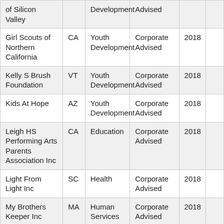| Organization | State | Category | Type | Year |  |
| --- | --- | --- | --- | --- | --- |
| of Silicon Valley |  | Development | Advised |  |  |
| Girl Scouts of Northern California | CA | Youth Development | Corporate Advised | 2018 |  |
| Kelly S Brush Foundation | VT | Youth Development | Corporate Advised | 2018 |  |
| Kids At Hope | AZ | Youth Development | Corporate Advised | 2018 |  |
| Leigh HS Performing Arts Parents Association Inc | CA | Education | Corporate Advised | 2018 |  |
| Light From Light Inc | SC | Health | Corporate Advised | 2018 |  |
| My Brothers Keeper Inc | MA | Human Services | Corporate Advised | 2018 |  |
| Performing Arts Weber | UT | Arts & Culture | Corporate Advised | 2018 |  |